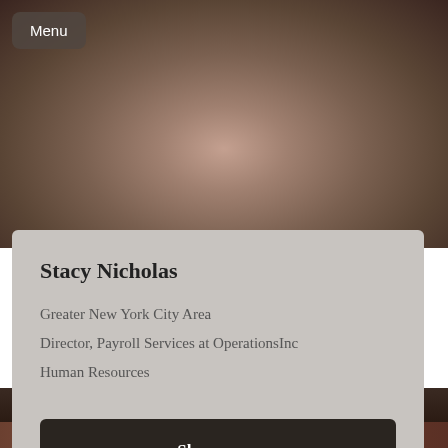[Figure (photo): Blurred profile photo showing a person with long dark hair, background is dark brownish tones]
Menu
Stacy Nicholas
Greater New York City Area
Director, Payroll Services at OperationsInc
Human Resources
Show more
[Figure (photo): Bottom portion showing dark background with partial photo strip of another person]